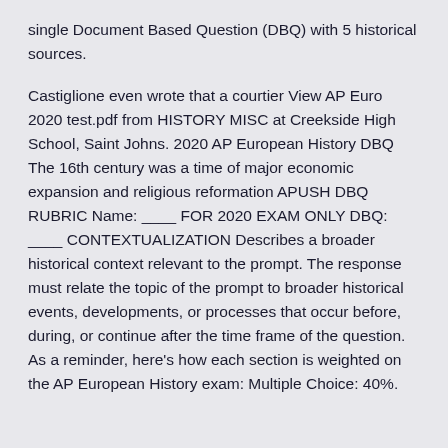single Document Based Question (DBQ) with 5 historical sources.
Castiglione even wrote that a courtier View AP Euro 2020 test.pdf from HISTORY MISC at Creekside High School, Saint Johns. 2020 AP European History DBQ The 16th century was a time of major economic expansion and religious reformation APUSH DBQ RUBRIC Name: ____ FOR 2020 EXAM ONLY DBQ: ____ CONTEXTUALIZATION Describes a broader historical context relevant to the prompt. The response must relate the topic of the prompt to broader historical events, developments, or processes that occur before, during, or continue after the time frame of the question. As a reminder, here's how each section is weighted on the AP European History exam: Multiple Choice: 40%.